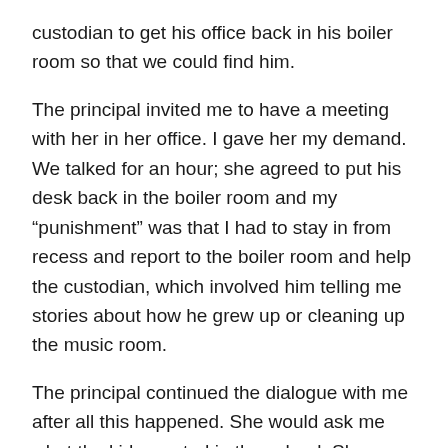custodian to get his office back in his boiler room so that we could find him.
The principal invited me to have a meeting with her in her office. I gave her my demand. We talked for an hour; she agreed to put his desk back in the boiler room and my “punishment” was that I had to stay in from recess and report to the boiler room and help the custodian, which involved him telling me stories about how he grew up or cleaning up the music room.
The principal continued the dialogue with me after all this happened. She would ask me what the kids wanted in the school. She wound up being a mentor to me; she used the situation as a teachable moment.
Angela Davis once said, “Radical simply means